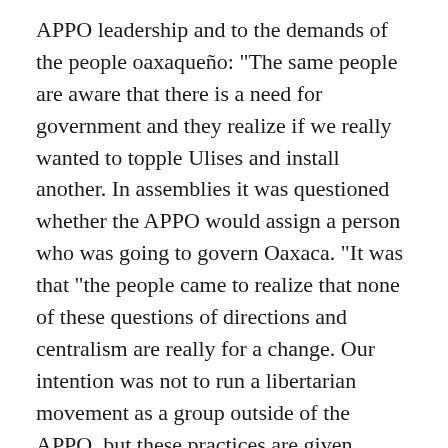APPO leadership and to the demands of the people oaxaqueño: "The same people are aware that there is a need for government and they realize if we really wanted to topple Ulises and install another. In assemblies it was questioned whether the APPO would assign a person who was going to govern Oaxaca. "It was that "the people came to realize that none of these questions of directions and centralism are really for a change. Our intention was not to run a libertarian movement as a group outside of the APPO, but these practices are given autonomy and self-management everywhere based on the needs of each town. "
The barricades
The libertarian groups were also an essential part and parcel of the struggle and the direct resistance against different police forces, both paramilitary and vigilantes